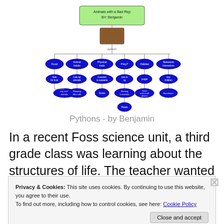[Figure (organizational-chart): Mind map / concept map titled 'Animals with a Bad Rep BY: Benjamin' with a python photo node at center, branching to categories: Food, Animal habits, Physical traits, Prey?, Habitat, Behavioral Interactions, each with further sub-nodes in blue ovals.]
Pythons - by Benjamin
In a recent Foss science unit, a third grade class was learning about the structures of life. The teacher wanted her students to be able to focus on a specific animal and
Privacy & Cookies: This site uses cookies. By continuing to use this website, you agree to their use.
To find out more, including how to control cookies, see here: Cookie Policy